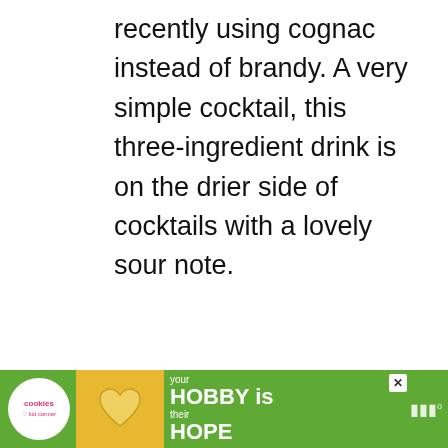recently using cognac instead of brandy. A very simple cocktail, this three-ingredient drink is on the drier side of cocktails with a lovely sour note.
[Figure (photo): Large image area (drink/cocktail photo placeholder, light gray background)]
[Figure (infographic): UI element: heart/like button (circle with heart outline), share count badge showing 27 in dark red, and share button below]
[Figure (infographic): What's Next banner: thumbnail of Bourbon Manhattan drink, label 'WHAT'S NEXT →', title 'Bourbon Manhattan']
[Figure (infographic): Advertisement banner: green background, cookies+kids cancer logo, heart-shaped cookie image, text 'your HOBBY is their HOPE', close X button, mute icon]